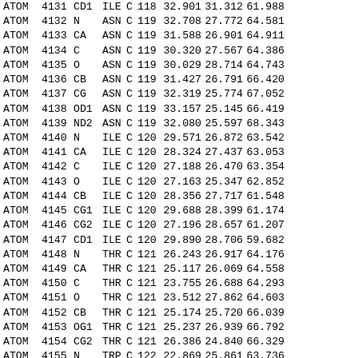| Record | Serial | Name | ResName | Chain | ResSeq | X | Y | Z | ... |
| --- | --- | --- | --- | --- | --- | --- | --- | --- | --- |
| ATOM | 4131 | CD1 | ILE | C | 118 | 32.901 | 31.312 | 61.988 |  |
| ATOM | 4132 | N | ASN | C | 119 | 32.708 | 27.772 | 64.581 |  |
| ATOM | 4133 | CA | ASN | C | 119 | 31.588 | 26.901 | 64.911 |  |
| ATOM | 4134 | C | ASN | C | 119 | 30.320 | 27.567 | 64.386 |  |
| ATOM | 4135 | O | ASN | C | 119 | 30.029 | 28.714 | 64.743 |  |
| ATOM | 4136 | CB | ASN | C | 119 | 31.427 | 26.791 | 66.420 |  |
| ATOM | 4137 | CG | ASN | C | 119 | 32.319 | 25.774 | 67.052 |  |
| ATOM | 4138 | OD1 | ASN | C | 119 | 33.157 | 25.145 | 66.419 |  |
| ATOM | 4139 | ND2 | ASN | C | 119 | 32.080 | 25.597 | 68.343 |  |
| ATOM | 4140 | N | ILE | C | 120 | 29.571 | 26.872 | 63.542 |  |
| ATOM | 4141 | CA | ILE | C | 120 | 28.324 | 27.437 | 63.053 |  |
| ATOM | 4142 | C | ILE | C | 120 | 27.188 | 26.470 | 63.354 |  |
| ATOM | 4143 | O | ILE | C | 120 | 27.163 | 25.347 | 62.852 |  |
| ATOM | 4144 | CB | ILE | C | 120 | 28.356 | 27.717 | 61.548 |  |
| ATOM | 4145 | CG1 | ILE | C | 120 | 29.688 | 28.399 | 61.174 |  |
| ATOM | 4146 | CG2 | ILE | C | 120 | 27.196 | 28.657 | 61.207 |  |
| ATOM | 4147 | CD1 | ILE | C | 120 | 29.890 | 28.706 | 59.682 |  |
| ATOM | 4148 | N | THR | C | 121 | 26.243 | 26.917 | 64.176 |  |
| ATOM | 4149 | CA | THR | C | 121 | 25.117 | 26.069 | 64.558 |  |
| ATOM | 4150 | C | THR | C | 121 | 23.755 | 26.688 | 64.293 |  |
| ATOM | 4151 | O | THR | C | 121 | 23.512 | 27.862 | 64.603 |  |
| ATOM | 4152 | CB | THR | C | 121 | 25.174 | 25.720 | 66.039 |  |
| ATOM | 4153 | OG1 | THR | C | 121 | 25.237 | 26.939 | 66.792 |  |
| ATOM | 4154 | CG2 | THR | C | 121 | 26.386 | 24.840 | 66.329 |  |
| ATOM | 4155 | N | TRP | C | 122 | 22.869 | 25.861 | 63.736 |  |
| ATOM | 4156 | CA | TRP | C | 122 | 21.502 | 26.245 | 63.396 |  |
| ATOM | 4157 | C | TRP | C | 122 | 20.575 | 26.164 | 64.598 |  |
| ATOM | 4158 | O | TRP | C | 122 | 20.581 | 25.163 | 65.318 |  |
| ATOM | 4159 | CB | TRP | C | 122 | 20.992 | 25.325 | 62.300 |  |
| ATOM | 4160 | CG | TRP | C | 122 | 21.424 | 25.720 | 60.952 |  |
| ATOM | 4161 | CD1 | TRP | C | 122 | 21.022 | 24.908 | 59.986 |  |